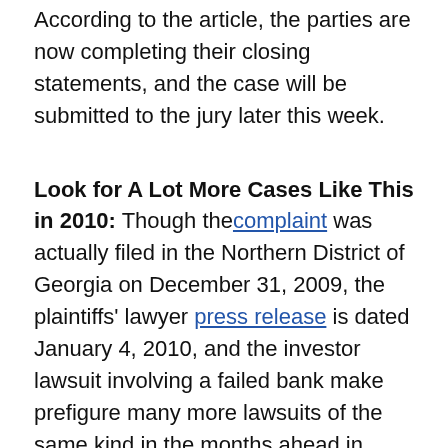According to the article, the parties are now completing their closing statements, and the case will be submitted to the jury later this week.
Look for A Lot More Cases Like This in 2010:
Though the complaint was actually filed in the Northern District of Georgia on December 31, 2009, the plaintiffs' lawyer press release is dated January 4, 2010, and the investor lawsuit involving a failed bank make prefigure many more lawsuits of the same kind in the months ahead in 2010.
The lawsuit arises out of the failure of Haven Trust Bancorp, whose operating banking subsidiary was taken over by the FDIC on December 12, 2008. On